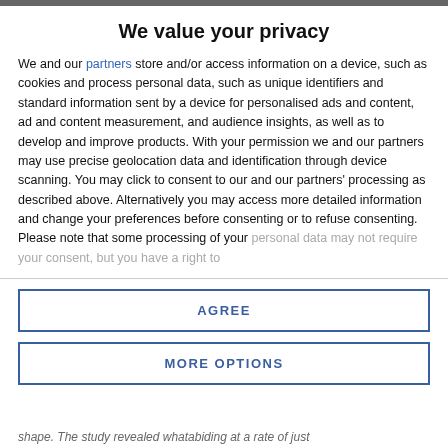We value your privacy
We and our partners store and/or access information on a device, such as cookies and process personal data, such as unique identifiers and standard information sent by a device for personalised ads and content, ad and content measurement, and audience insights, as well as to develop and improve products. With your permission we and our partners may use precise geolocation data and identification through device scanning. You may click to consent to our and our partners' processing as described above. Alternatively you may access more detailed information and change your preferences before consenting or to refuse consenting. Please note that some processing of your personal data may not require your consent, but you have a right to
AGREE
MORE OPTIONS
shape. The study revealed whatabiding at a rate of just